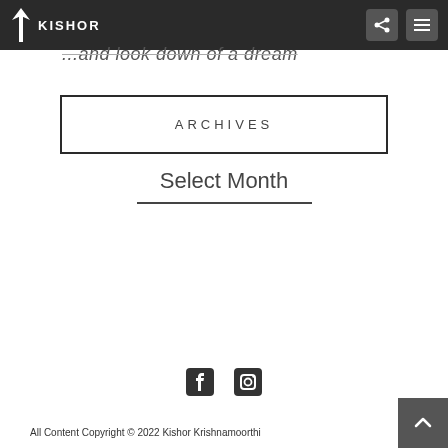KISHOR (logo/nav bar)
...and look down of a dream
ARCHIVES
Select Month
All Content Copyright © 2022 Kishor Krishnamoorthi